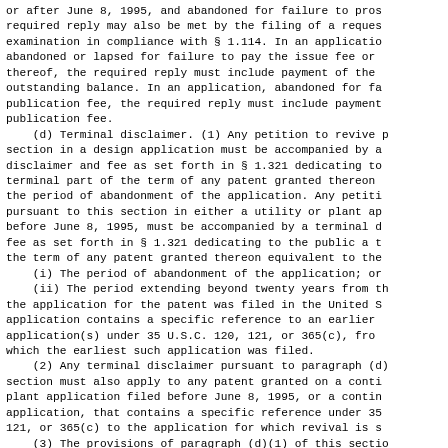or after June 8, 1995, and abandoned for failure to prose required reply may also be met by the filing of a request examination in compliance with § 1.114. In an application abandoned or lapsed for failure to pay the issue fee or a thereof, the required reply must include payment of the i outstanding balance. In an application, abandoned for fai publication fee, the required reply must include payment publication fee.
    (d) Terminal disclaimer. (1) Any petition to revive pu section in a design application must be accompanied by a disclaimer and fee as set forth in § 1.321 dedicating to terminal part of the term of any patent granted thereon e the period of abandonment of the application. Any petitio pursuant to this section in either a utility or plant app before June 8, 1995, must be accompanied by a terminal di fee as set forth in § 1.321 dedicating to the public a te the term of any patent granted thereon equivalent to the
    (i) The period of abandonment of the application; or
    (ii) The period extending beyond twenty years from the the application for the patent was filed in the United St application contains a specific reference to an earlier f application(s) under 35 U.S.C. 120, 121, or 365(c), from which the earliest such application was filed.
    (2) Any terminal disclaimer pursuant to paragraph (d)( section must also apply to any patent granted on a continu plant application filed before June 8, 1995, or a continu application, that contains a specific reference under 35 121, or 365(c) to the application for which revival is so
    (3) The provisions of paragraph (d)(1) of this section to applications for which revival is sought solely for p